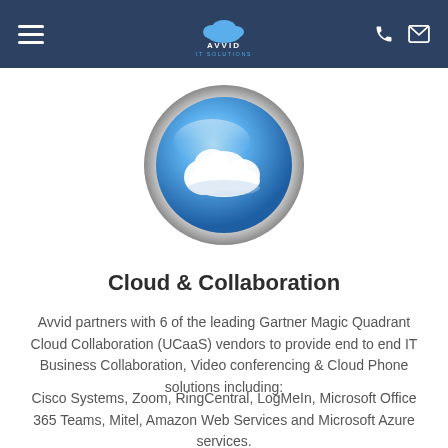Avvid IT Solutions
[Figure (logo): Glossy blue sphere with white cloud icon, metallic silver border]
Cloud & Collaboration
Avvid partners with 6 of the leading Gartner Magic Quadrant Cloud Collaboration (UCaaS) vendors to provide end to end IT Business Collaboration, Video conferencing & Cloud Phone solutions including:
Cisco Systems, Zoom, RingCentral, LogMeIn, Microsoft Office 365 Teams, Mitel, Amazon Web Services and Microsoft Azure services.